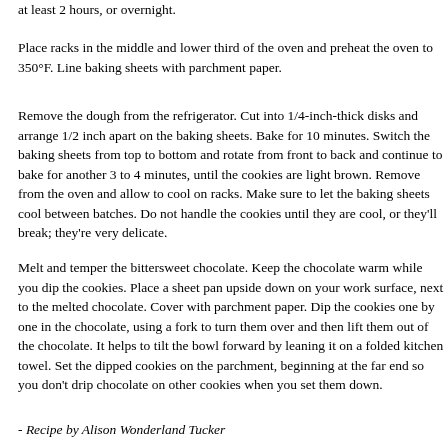at least 2 hours, or overnight.
Place racks in the middle and lower third of the oven and preheat the oven to 350°F. Line baking sheets with parchment paper.
Remove the dough from the refrigerator. Cut into 1/4-inch-thick disks and arrange 1/2 inch apart on the baking sheets. Bake for 10 minutes. Switch the baking sheets from top to bottom and rotate from front to back and continue to bake for another 3 to 4 minutes, until the cookies are light brown. Remove from the oven and allow to cool on racks. Make sure to let the baking sheets cool between batches. Do not handle the cookies until they are cool, or they'll break; they're very delicate.
Melt and temper the bittersweet chocolate. Keep the chocolate warm while you dip the cookies. Place a sheet pan upside down on your work surface, next to the melted chocolate. Cover with parchment paper. Dip the cookies one by one in the chocolate, using a fork to turn them over and then lift them out of the chocolate. It helps to tilt the bowl forward by leaning it on a folded kitchen towel. Set the dipped cookies on the parchment, beginning at the far end so you don't drip chocolate on other cookies when you set them down.
- Recipe by Alison Wonderland Tucker